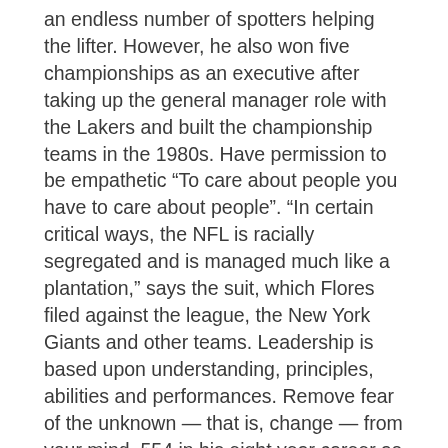an endless number of spotters helping the lifter. However, he also won five championships as an executive after taking up the general manager role with the Lakers and built the championship teams in the 1980s. Have permission to be empathetic “To care about people you have to care about people”. “In certain critical ways, the NFL is racially segregated and is managed much like a plantation,” says the suit, which Flores filed against the league, the New York Giants and other teams. Leadership is based upon understanding, principles, abilities and performances. Remove fear of the unknown — that is, change — from your mind. 554 in his eight year career as the Sun Devil coach and has posted a career record of 324 194. I knew that Hammond had no black athletes and I didn’t know if coach Yoast had anything to do with that. In other news, Lucas Hnath retells Dana Higginbotham’s chilling kidnap